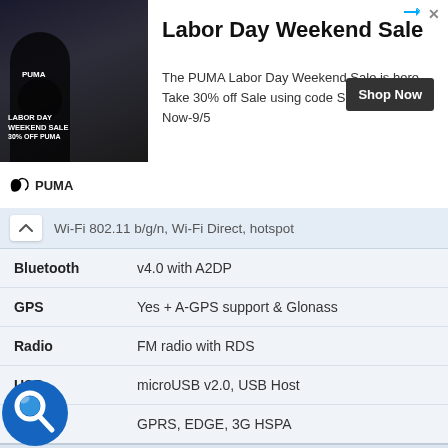[Figure (screenshot): PUMA Labor Day Weekend Sale advertisement banner with athlete image and shop now button]
| Wi-Fi | 802.11 b/g/n, Wi-Fi Direct, hotspot |
| Bluetooth | v4.0 with A2DP |
| GPS | Yes + A-GPS support & Glonass |
| Radio | FM radio with RDS |
| USB | microUSB v2.0, USB Host |
| Data | GPRS, EDGE, 3G HSPA |
Features
| Sensors | Accelerometer, proximity |
| Audio | 3.5mm audio jack |
| Browser | HTML5 |
| Messaging | SMS(threaded view), MMS, Email, IM |
| Games | built-in + downloadable |